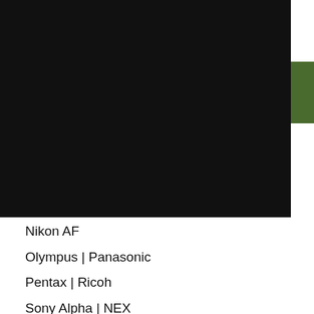Il sito MCdigital utilizza cookie tecnici indispensabili per la fruizione corretta del sito e cookie analitici di terze parti al fine di migliorare le performance del sito. Se accetti o continui la navigazione sul sito acconsenti all'uso dei cookie. Leggi l'informativa
Accetto
Nikon AF
Olympus | Panasonic
Pentax | Ricoh
Sony Alpha | NEX
Varie
Video | Audio
Analogico